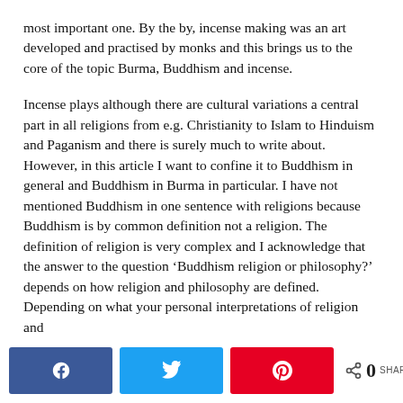most important one. By the by, incense making was an art developed and practised by monks and this brings us to the core of the topic Burma, Buddhism and incense.
Incense plays although there are cultural variations a central part in all religions from e.g. Christianity to Islam to Hinduism and Paganism and there is surely much to write about. However, in this article I want to confine it to Buddhism in general and Buddhism in Burma in particular. I have not mentioned Buddhism in one sentence with religions because Buddhism is by common definition not a religion. The definition of religion is very complex and I acknowledge that the answer to the question ‘Buddhism religion or philosophy?’ depends on how religion and philosophy are defined. Depending on what your personal interpretations of religion and
Share buttons: Facebook, Twitter, Pinterest | 0 SHARES